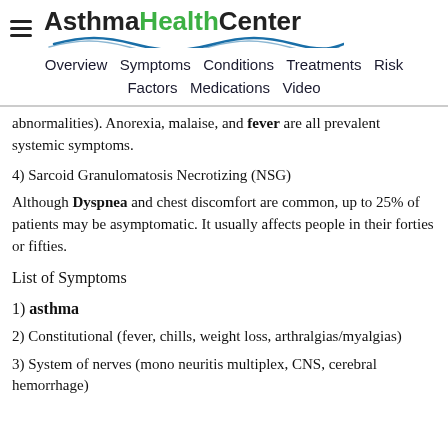AsthmaHealthCenter — Overview Symptoms Conditions Treatments Risk Factors Medications Video
abnormalities). Anorexia, malaise, and fever are all prevalent systemic symptoms.
4) Sarcoid Granulomatosis Necrotizing (NSG)
Although Dyspnea and chest discomfort are common, up to 25% of patients may be asymptomatic. It usually affects people in their forties or fifties.
List of Symptoms
1) asthma
2) Constitutional (fever, chills, weight loss, arthralgias/myalgias)
3) System of nerves (mono neuritis multiplex, CNS, cerebral hemorrhage)